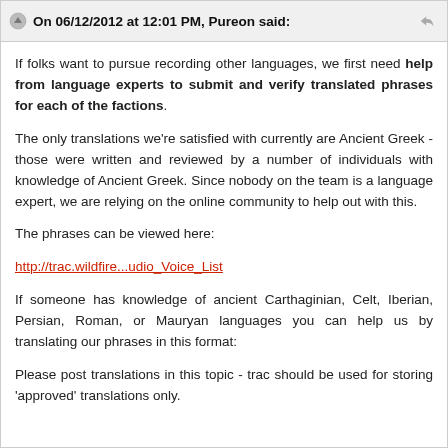On 06/12/2012 at 12:01 PM, Pureon said:
If folks want to pursue recording other languages, we first need help from language experts to submit and verify translated phrases for each of the factions.
The only translations we're satisfied with currently are Ancient Greek - those were written and reviewed by a number of individuals with knowledge of Ancient Greek. Since nobody on the team is a language expert, we are relying on the online community to help out with this.
The phrases can be viewed here:
http://trac.wildfire...udio_Voice_List
If someone has knowledge of ancient Carthaginian, Celt, Iberian, Persian, Roman, or Mauryan languages you can help us by translating our phrases in this format:
Please post translations in this topic - trac should be used for storing 'approved' translations only.